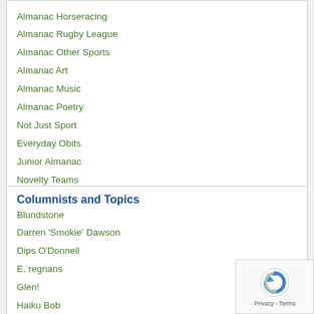Almanac Horseracing
Almanac Rugby League
Almanac Other Sports
Almanac Art
Almanac Music
Almanac Poetry
Not Just Sport
Everyday Obits
Junior Almanac
Novelty Teams
Columnists and Topics
Blundstone
Darren 'Smokie' Dawson
Dips O'Donnell
E. regnans
Glen!
Haiku Bob
Harms
KB Hill
Kevin Densley